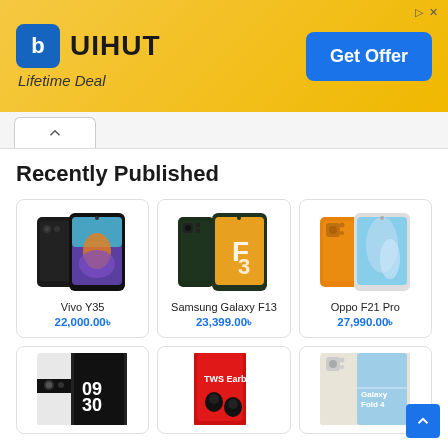[Figure (screenshot): UIHUT advertisement banner with yellow/gold background, showing UIHUT logo, brand name, 'Lifetime Deal' text, and a blue 'Get Offer' button]
Recently Published
[Figure (photo): Vivo Y35 smartphone product image]
Vivo Y35
22,000.00৳
[Figure (photo): Samsung Galaxy F13 smartphone product image]
Samsung Galaxy F13
23,399.00৳
[Figure (photo): Oppo F21 Pro smartphone product image]
Oppo F21 Pro
27,990.00৳
[Figure (photo): Google Pixel 6 smartphone product image]
[Figure (photo): TWS earbuds with red phone product image]
[Figure (photo): Samsung Galaxy Z Fold 4 smartphone product image]